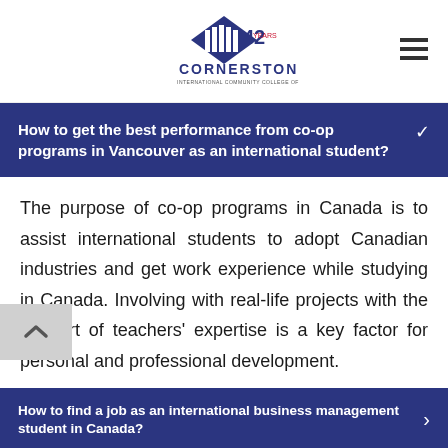[Figure (logo): Cornerstone International Community College of Canada logo with '42' years mark]
How to get the best performance from co-op programs in Vancouver as an international student?
The purpose of co-op programs in Canada is to assist international students to adopt Canadian industries and get work experience while studying in Canada. Involving with real-life projects with the support of teachers' expertise is a key factor for personal and professional development.
How to find a job as an international business management student in Canada?